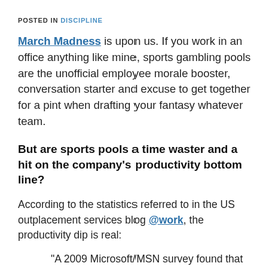POSTED IN DISCIPLINE
March Madness is upon us. If you work in an office anything like mine, sports gambling pools are the unofficial employee morale booster, conversation starter and excuse to get together for a pint when drafting your fantasy whatever team.
But are sports pools a time waster and a hit on the company's productivity bottom line?
According to the statistics referred to in the US outplacement services blog @work, the productivity dip is real:
"A 2009 Microsoft/MSN survey found that 45 percent of Americans planned to enter at least one college basketball pool last year.